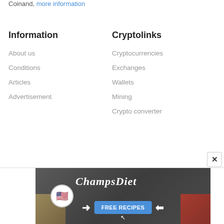Coinand, more information
Information
About us
Conditions
Articles
Advertisement
Cryptolinks
Cryptocurrencies
Exchanges
Wallets
Mining
Crypto converter
[Figure (screenshot): Advertisement banner for ChampsDiet showing FREE RECIPES button with food imagery including bread, tomatoes, herbs and pasta on a dark background]